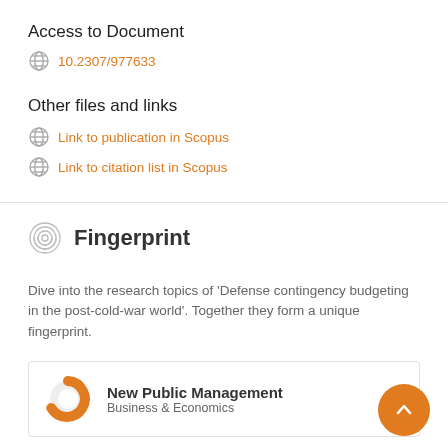Access to Document
10.2307/977633
Other files and links
Link to publication in Scopus
Link to citation list in Scopus
Fingerprint
Dive into the research topics of 'Defense contingency budgeting in the post-cold-war world'. Together they form a unique fingerprint.
New Public Management
Business & Economics